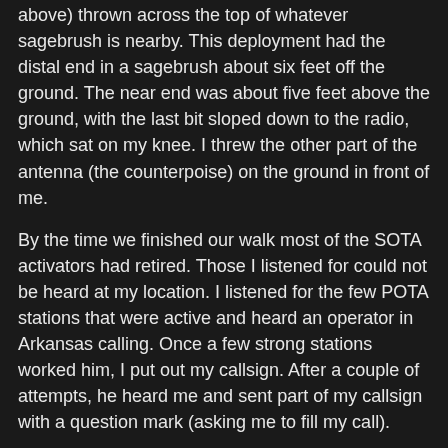above) thrown across the top of whatever sagebrush is nearby. This deployment had the distal end in a sagebrush about six feet off the ground. The near end was about five feet above the ground, with the last bit sloped down to the radio, which sat on my knee. I threw the other part of the antenna (the counterpoise) on the ground in front of me.
By the time we finished our walk most of the SOTA activators had retired. Those I listened for could not be heard at my location. I listened for the few POTA stations that were active and heard an operator in Arkansas calling. Once a few strong stations worked him, I put out my callsign. After a couple of attempts, he heard me and sent part of my callsign with a question mark (asking me to fill my call).
About the time I heard him complete my call, he faded into the noise. I continued to listen a bit more, heard his signal come up and fade away again, then decided I would either have to wait or give up. Given I needed to return home for a phone call, I gave up. (I hate to give up!)
As I put away the station, the phone rang. My buddy Dick said "You're 5-4 or 5-5 here, what are you running????"